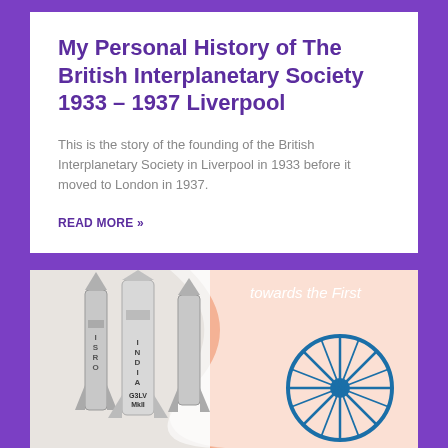My Personal History of The British Interplanetary Society 1933 – 1937 Liverpool
This is the story of the founding of the British Interplanetary Society in Liverpool in 1933 before it moved to London in 1937.
READ MORE »
[Figure (photo): Photo of ISRO rockets labeled ISRO and INDIA / GSLV MkII alongside an orange and white background featuring the Ashoka Chakra (Indian flag wheel symbol) in blue, with text 'towards the First' visible.]